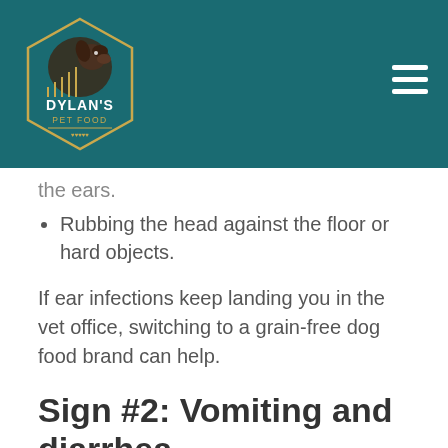[Figure (logo): Dylan's Pet Food logo: hexagonal badge with dog image, text DYLAN'S PET FOOD, on teal header background]
the ears.
Rubbing the head against the floor or hard objects.
If ear infections keep landing you in the vet office, switching to a grain-free dog food brand can help.
Sign #2: Vomiting and diarrhea